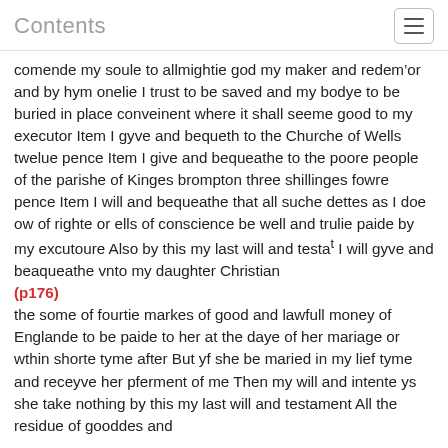Contents
comende my soule to allmightie god my maker and redemor and by hym onelie I trust to be saved and my bodye to be buried in place conveinent where it shall seeme good to my executor Item I gyve and bequeth to the Churche of Wells twelue pence Item I give and bequeathe to the poore people of the parishe of Kinges brompton three shillinges fowre pence Item I will and bequeathe that all suche dettes as I doe ow of righte or ells of conscience be well and trulie paide by my excutoure Also by this my last will and testaᵗ I will gyve and beaqueathe vnto my daughter Christian
(p176)
the some of fourtie markes of good and lawfull money of Englande to be paide to her at the daye of her mariage or wthin shorte tyme after But yf she be maried in my lief tyme and receyve her pferment of me Then my will and intente ys she take nothing by this my last will and testament All the residue of gooddes and